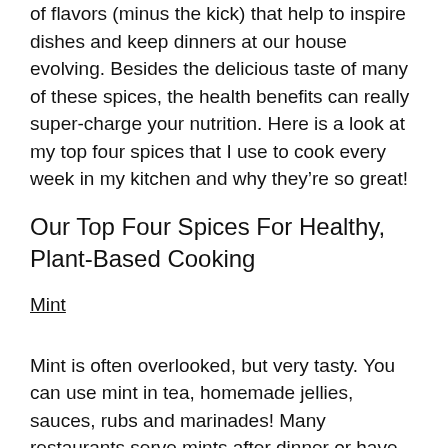of flavors (minus the kick) that help to inspire dishes and keep dinners at our house evolving. Besides the delicious taste of many of these spices, the health benefits can really super-charge your nutrition. Here is a look at my top four spices that I use to cook every week in my kitchen and why they're so great!
Our Top Four Spices For Healthy, Plant-Based Cooking
Mint
Mint is often overlooked, but very tasty. You can use mint in tea, homemade jellies, sauces, rubs and marinades! Many restaurants serve mints after dinner or have them for you to grab on the way out for good reason. Mint aids in digestion and helps to provide digestive